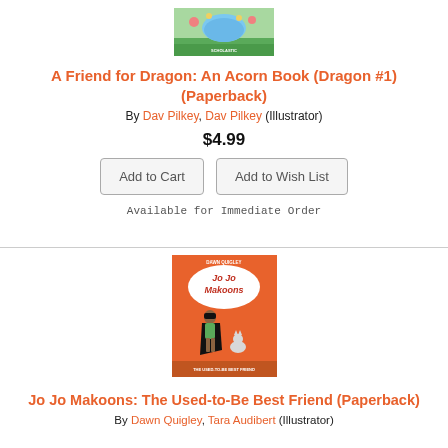[Figure (illustration): Book cover for A Friend for Dragon: An Acorn Book (Dragon #1) - top portion visible showing green/nature themed illustration]
A Friend for Dragon: An Acorn Book (Dragon #1) (Paperback)
By Dav Pilkey, Dav Pilkey (Illustrator)
$4.99
Add to Cart   Add to Wish List
Available for Immediate Order
[Figure (illustration): Book cover for Jo Jo Makoons: The Used-to-Be Best Friend - orange cover with girl character in green dress and black cape, with a small cat]
Jo Jo Makoons: The Used-to-Be Best Friend (Paperback)
By Dawn Quigley, Tara Audibert (Illustrator)